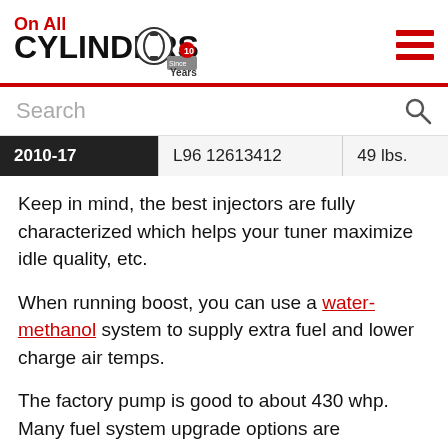On All Cylinders (logo)
| 2010-17 | L96 12613412 | 49 lbs. |
Keep in mind, the best injectors are fully characterized which helps your tuner maximize idle quality, etc.
When running boost, you can use a water-methanol system to supply extra fuel and lower charge air temps.
The factory pump is good to about 430 whp. Many fuel system upgrade options are